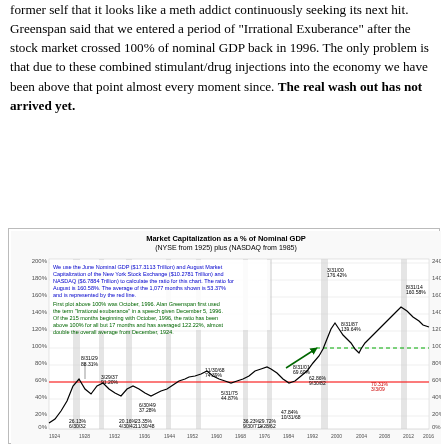former self that it looks like a meth addict continuously seeking its next hit. Greenspan said that we entered a period of "Irrational Exuberance" after the stock market crossed 100% of nominal GDP back in 1996. The only problem is that due to these combined stimulant/drug injections into the economy we have been above that point almost every moment since. The real wash out has not arrived yet.
[Figure (continuous-plot): Line chart showing Market Capitalization as a % of Nominal GDP from 1925 to 2016, with annotated peaks and troughs. Notable annotations include the 53.37% average red line, and labeled data points such as 8/31/29 88.31%, 3/29/37 91.20%, 11/30/68 74.39%, 8/31/87 139.64%, 8/31/00 176.42%, 8/31/14 160.58%, and others. Text annotations in blue and green describe the data sources and the period of irrational exuberance starting October 1996.]